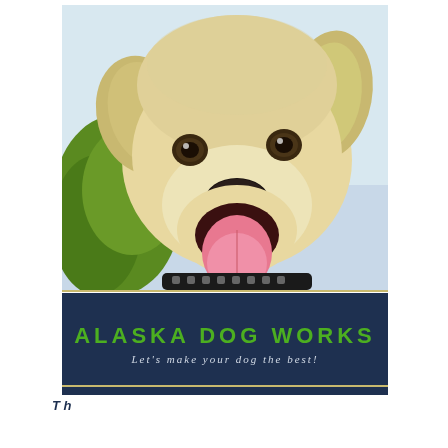[Figure (photo): Close-up photo of a yellow Labrador Retriever dog with mouth open and tongue out, wearing a black collar with skull pattern, with green trees and light sky in background]
ALASKA DOG WORKS
Let's make your dog the best!
T h